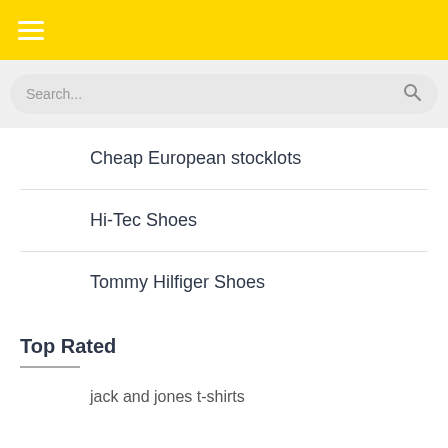Navigation header with hamburger menu
Search...
Cheap European stocklots
Hi-Tec Shoes
Tommy Hilfiger Shoes
Top Rated
jack and jones t-shirts